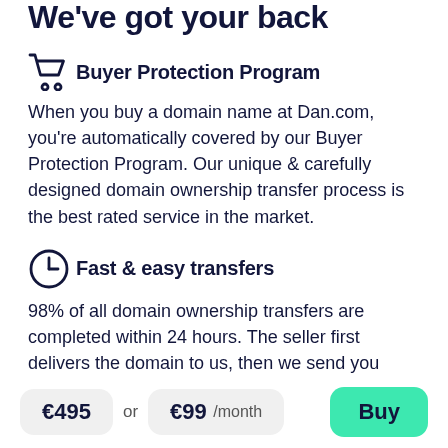We've got your back
Buyer Protection Program
When you buy a domain name at Dan.com, you're automatically covered by our Buyer Protection Program. Our unique & carefully designed domain ownership transfer process is the best rated service in the market.
Fast & easy transfers
98% of all domain ownership transfers are completed within 24 hours. The seller first delivers the domain to us, then we send you
€495  or  €99 /month
Buy